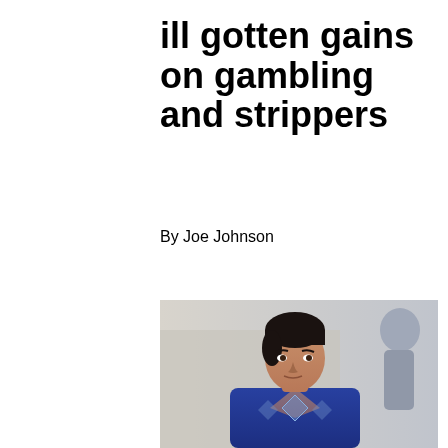ill gotten gains on gambling and strippers
By Joe Johnson
[Figure (photo): Young man with dark hair wearing a blue argyle v-neck sweater, photographed outdoors with a blurred background]